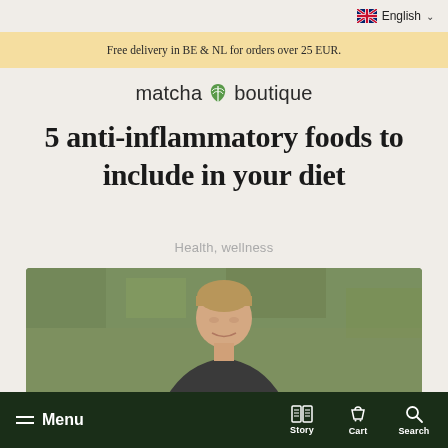English
Free delivery in BE & NL for orders over 25 EUR.
matcha boutique
5 anti-inflammatory foods to include in your diet
Health, wellness
[Figure (photo): Man sitting on grass, looking down, smiling, wearing a dark shirt]
Menu  Story  Cart  Search